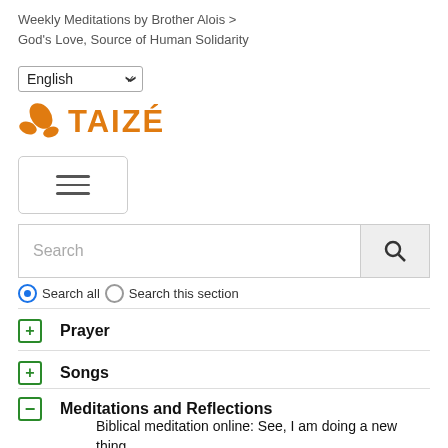Weekly Meditations by Brother Alois > God's Love, Source of Human Solidarity
[Figure (screenshot): Language selector dropdown showing 'English' with a chevron]
[Figure (logo): Taizé logo with orange cross/bird icon and orange text TAIZÉ]
[Figure (screenshot): Hamburger menu button with three horizontal lines]
[Figure (screenshot): Search bar with placeholder text 'Search' and a search icon button on the right]
● Search all ○ Search this section
+ Prayer
+ Songs
− Meditations and Reflections
Biblical meditation online: See, I am doing a new thing
"What is best in our life grows out of a simple